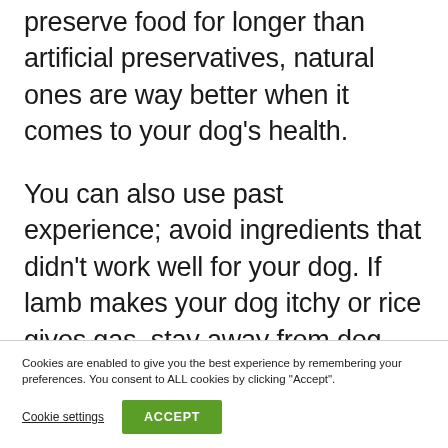preserve food for longer than artificial preservatives, natural ones are way better when it comes to your dog's health.
You can also use past experience; avoid ingredients that didn't work well for your dog. If lamb makes your dog itchy or rice gives gas, stay away from dog food that contains lamb meat or rice.
Cookies are enabled to give you the best experience by remembering your preferences. You consent to ALL cookies by clicking "Accept".